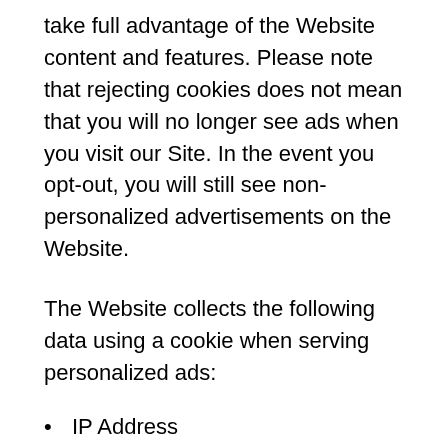take full advantage of the Website content and features. Please note that rejecting cookies does not mean that you will no longer see ads when you visit our Site. In the event you opt-out, you will still see non-personalized advertisements on the Website.
The Website collects the following data using a cookie when serving personalized ads:
IP Address